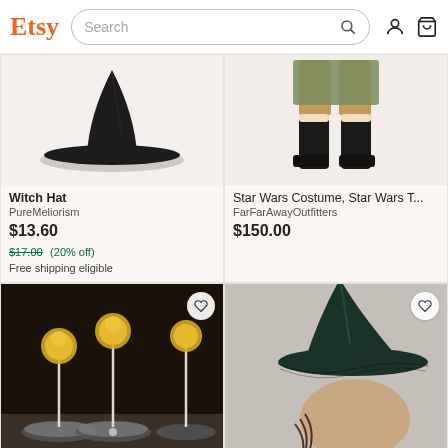Etsy — Search
[Figure (screenshot): Etsy product listing page showing witch hat and Star Wars costume in top row, palm torches and traditional witch hat in bottom row]
Witch Hat
PureMeliorism
$13.60
$17.00 (20% off)
Free shipping eligible
Star Wars Costume, Star Wars T...
FarFarAwayOutfitters
$150.00
Palm Torches - FR Elastic finger...
Traditional Witch Hat Pretty Bor...